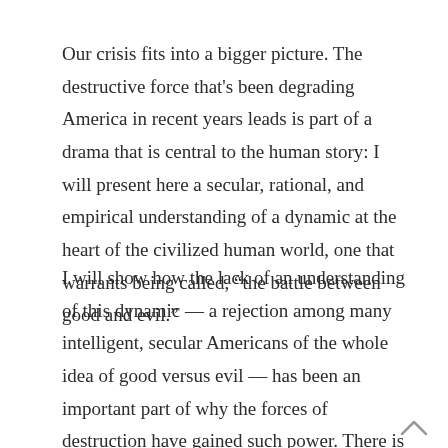Our crisis fits into a bigger picture. The destructive force that's been degrading America in recent years leads is part of a drama that is central to the human story: I will present here a secular, rational, and empirical understanding of a dynamic at the heart of the civilized human world, one that warrants being called, “the battle between good and evil.”
I will show how the lack of an understanding of this dynamic — a rejection among many intelligent, secular Americans of the whole idea of good versus evil — has been an important part of why the forces of destruction have gained such power. There is a